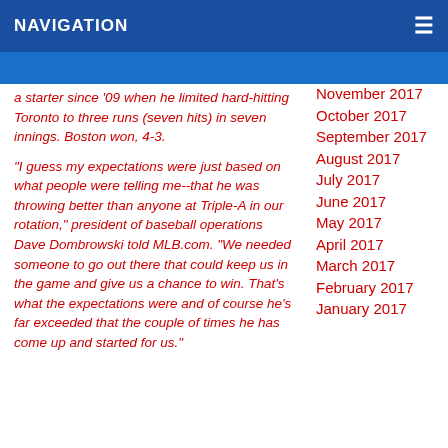NAVIGATION
a starter since '09 when he limited hard-hitting Toronto to three runs (seven hits) in seven innings.  Boston won, 4-3.
"I guess my expectations were just based on what people were telling me--that he was throwing better than anyone at Triple-A in our rotation," president of baseball operations Dave Dombrowski told MLB.com.  "We needed someone to go out there that could keep us in the game and give us a chance to win.  That's what the expectations were and of course he's far exceeded that the couple of times he has come up and started for us."
November 2017
October 2017
September 2017
August 2017
July 2017
June 2017
May 2017
April 2017
March 2017
February 2017
January 2017